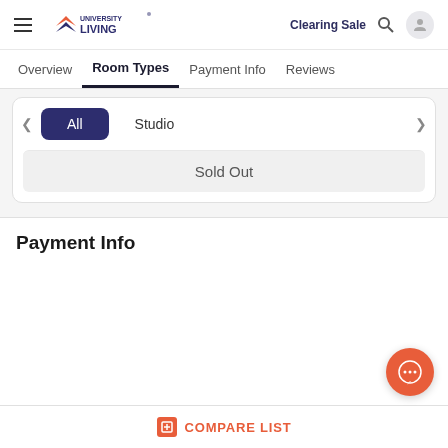University Living — Clearing Sale
Overview   Room Types   Payment Info   Reviews
All   Studio
Sold Out
Payment Info
COMPARE LIST